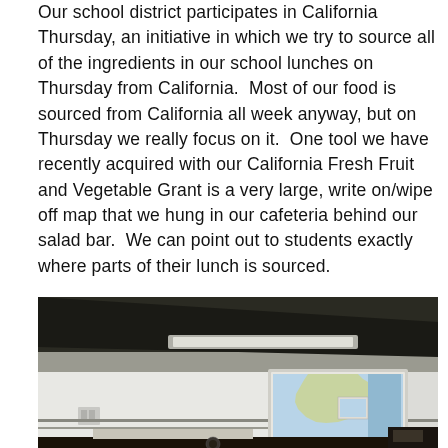Our school district participates in California Thursday, an initiative in which we try to source all of the ingredients in our school lunches on Thursday from California. Most of our food is sourced from California all week anyway, but on Thursday we really focus on it. One tool we have recently acquired with our California Fresh Fruit and Vegetable Grant is a very large, write on/wipe off map that we hung in our cafeteria behind our salad bar. We can point out to students exactly where parts of their lunch is sourced.
[Figure (photo): Interior photo of a school cafeteria showing the ceiling, a fluorescent light fixture, white walls, and a large write-on/wipe-off map of California mounted on the wall behind the salad bar area.]